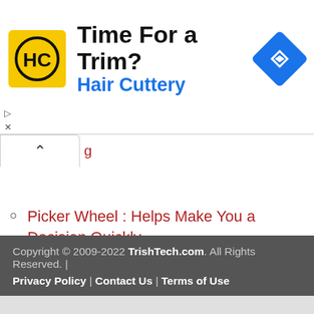[Figure (infographic): Hair Cuttery advertisement banner with yellow HC logo, headline 'Time For a Trim?' and blue 'Hair Cuttery' text, blue diamond navigation icon on right]
Picker Wheel : Helps Make You a Decision Quickly
TextConverter : Batch Edit Multiple Text Files in Seconds
Search
Copyright © 2009-2022 TrishTech.com. All Rights Reserved. | Privacy Policy | Contact Us | Terms of Use